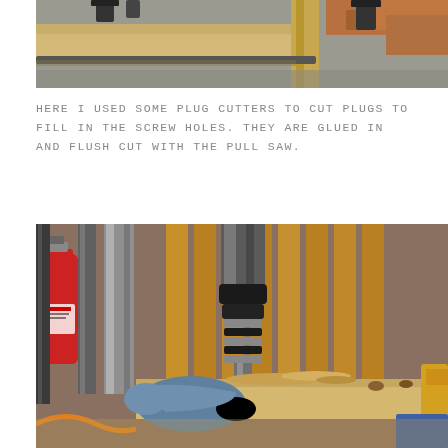[Figure (photo): Workshop photo showing wooden frame pieces being clamped together with bar clamps on a concrete floor, with cedar or pine wood pieces visible]
HERE I USED SOME PLUG CUTTERS TO CUT PLUGS TO FILL IN THE SCREW HOLES. THEY ARE GLUED IN AND FLUSH CUT WITH THE PULL SAW.
[Figure (photo): Close-up workshop photo of a plug cutter drill bit mounted in a drill press cutting into a piece of wood, with wood shavings visible, a red fire extinguisher in background, and a gloved hand holding the workpiece]